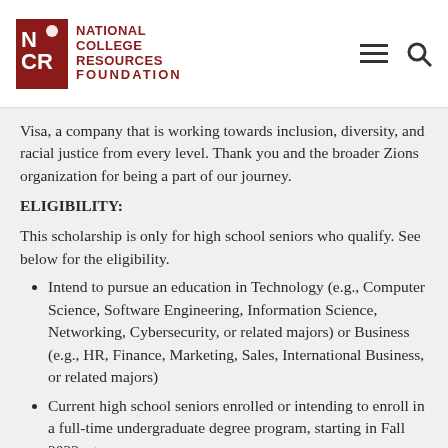National College Resources Foundation
Visa, a company that is working towards inclusion, diversity, and racial justice from every level. Thank you and the broader Zions organization for being a part of our journey.
ELIGIBILITY:
This scholarship is only for high school seniors who qualify. See below for the eligibility.
Intend to pursue an education in Technology (e.g., Computer Science, Software Engineering, Information Science, Networking, Cybersecurity, or related majors) or Business (e.g., HR, Finance, Marketing, Sales, International Business, or related majors)
Current high school seniors enrolled or intending to enroll in a full-time undergraduate degree program, starting in Fall 2022, at any